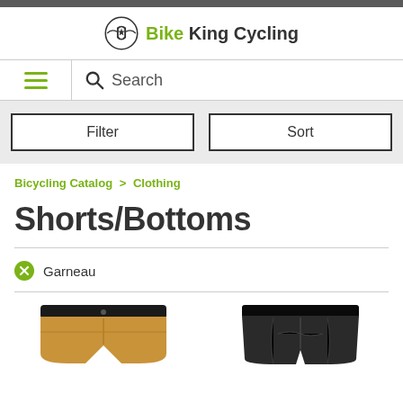Bike King Cycling
Search
Filter | Sort
Bicycling Catalog > Clothing
Shorts/Bottoms
Garneau
[Figure (photo): Two cycling shorts/bottoms products: one tan/brown colored and one black colored]